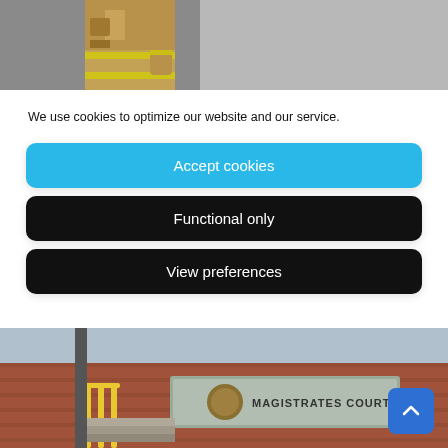[Figure (photo): Firefighter in yellow high-visibility gear against a smoky grey background, cropped to show torso and arm holding equipment]
We use cookies to optimize our website and our service.
Accept cookies
Functional only
View preferences
[Figure (photo): Magistrates Court building exterior showing a brick facade with a sign reading MAGISTRATES COURT, yellow railings and steps visible on the left, a blue scroll-to-top button in the bottom right corner]